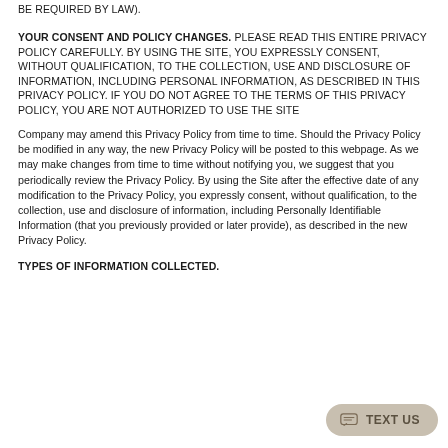BE REQUIRED BY LAW).
YOUR CONSENT AND POLICY CHANGES. PLEASE READ THIS ENTIRE PRIVACY POLICY CAREFULLY. BY USING THE SITE, YOU EXPRESSLY CONSENT, WITHOUT QUALIFICATION, TO THE COLLECTION, USE AND DISCLOSURE OF INFORMATION, INCLUDING PERSONAL INFORMATION, AS DESCRIBED IN THIS PRIVACY POLICY. IF YOU DO NOT AGREE TO THE TERMS OF THIS PRIVACY POLICY, YOU ARE NOT AUTHORIZED TO USE THE SITE
Company may amend this Privacy Policy from time to time. Should the Privacy Policy be modified in any way, the new Privacy Policy will be posted to this webpage. As we may make changes from time to time without notifying you, we suggest that you periodically review the Privacy Policy. By using the Site after the effective date of any modification to the Privacy Policy, you expressly consent, without qualification, to the collection, use and disclosure of information, including Personally Identifiable Information (that you previously provided or later provide), as described in the new Privacy Policy.
TYPES OF INFORMATION COLLECTED.